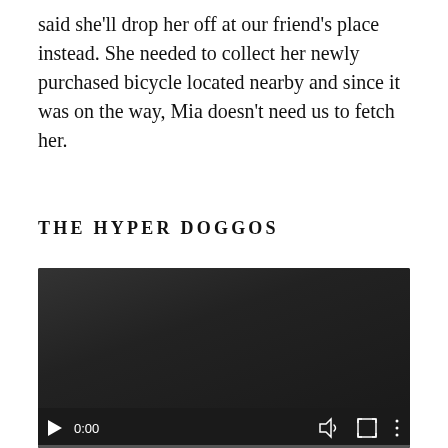said she'll drop her off at our friend's place instead. She needed to collect her newly purchased bicycle located nearby and since it was on the way, Mia doesn't need us to fetch her.
THE HYPER DOGGOS
[Figure (other): A video player with dark background showing 0:00 timestamp, play button, volume icon, fullscreen icon, and more options icon, with a progress bar at the bottom.]